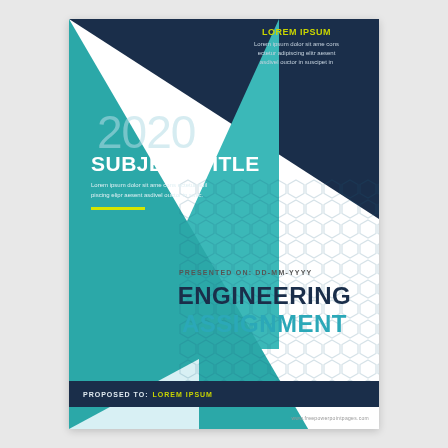[Figure (illustration): Engineering assignment cover page with geometric teal, dark navy, and light blue triangle shapes, hexagon dot pattern, year 2020, subject title, description text, yellow rule, presented on date, engineering assignment title, proposed to footer bar.]
LOREM IPSUM
Lorem ipsum dolor sit ame cons ectetur adipiscing elitr aesent asdivel ouctor in suscipet in
2020
SUBJECT TITLE
Lorem ipsum dolor sit ame cons ectetur adil piscing elipr aesent asdivel ouctor in susc.
PRESENTED ON: DD-MM-YYYY
ENGINEERING ASSIGNMENT
PROPOSED TO:  LOREM IPSUM